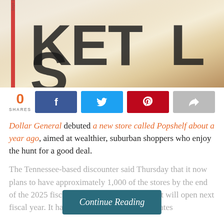[Figure (photo): Close-up photo of a newspaper or magazine page showing large letters, slightly blurred, with a red stripe visible on the left side.]
0 SHARES — Facebook, Twitter, Pinterest, Share social buttons
Dollar General debuted a new store called Popshelf about a year ago, aimed at wealthier, suburban shoppers who enjoy the hunt for a good deal.
The Tennessee-based discounter said Thursday that it now plans to have approximately 1,000 of the stores by the end of the 2025 fiscal year — including about [Continue Reading overlay] that will open next fiscal year. It has 30 Popshelf stores in six states